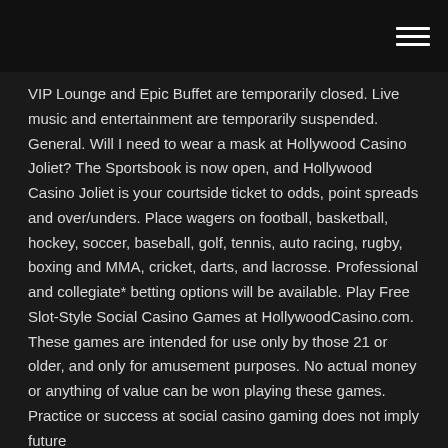VIP Lounge and Epic Buffet are temporarily closed. Live music and entertainment are temporarily suspended. General. Will I need to wear a mask at Hollywood Casino Joliet? The Sportsbook is now open, and Hollywood Casino Joliet is your courtside ticket to odds, point spreads and over/unders. Place wagers on football, basketball, hockey, soccer, baseball, golf, tennis, auto racing, rugby, boxing and MMA, cricket, darts, and lacrosse. Professional and collegiate* betting options will be available. Play Free Slot-Style Social Casino Games at HollywoodCasino.com. These games are intended for use only by those 21 or older, and only for amusement purposes. No actual money or anything of value can be won playing these games. Practice or success at social casino gaming does not imply future